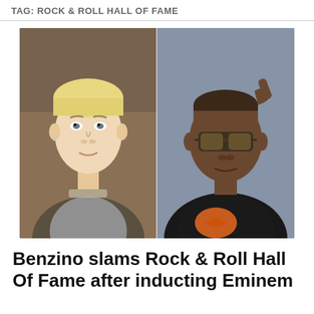TAG: ROCK & ROLL HALL OF FAME
[Figure (photo): Side-by-side photo of Eminem (left, blonde hair, white male in jacket) and Benzino (right, Black male wearing sunglasses and black jacket with orange logo), separated by a vertical white divider line.]
Benzino slams Rock & Roll Hall Of Fame after inducting Eminem